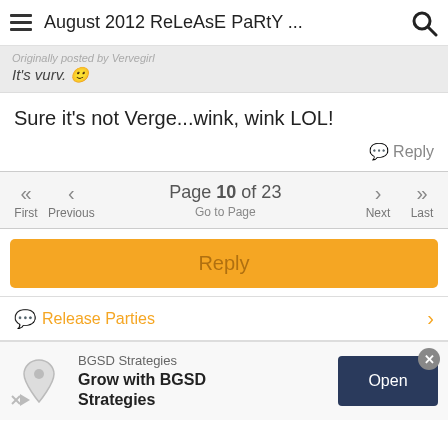August 2012 ReLeAsE PaRtY ...
It's vurv. 🙂
Sure it's not Verge...wink, wink LOL!
Reply
Page 10 of 23
First Previous Go to Page Next Last
Reply
Release Parties
BGSD Strategies
Grow with BGSD Strategies
Open